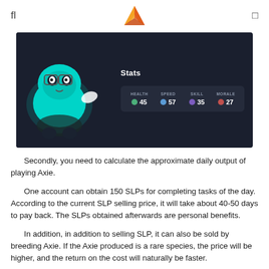fl  [Axie Infinity logo]  □
[Figure (screenshot): Screenshot of an Axie Infinity game character (teal creature) with a Stats panel showing HEALTH 45, SPEED 57, SKILL 35, MORALE 27 on dark background]
Secondly, you need to calculate the approximate daily output of playing Axie.
One account can obtain 150 SLPs for completing tasks of the day. According to the current SLP selling price, it will take about 40-50 days to pay back. The SLPs obtained afterwards are personal benefits.
In addition, in addition to selling SLP, it can also be sold by breeding Axie. If the Axie produced is a rare species, the price will be higher, and the return on the cost will naturally be faster.